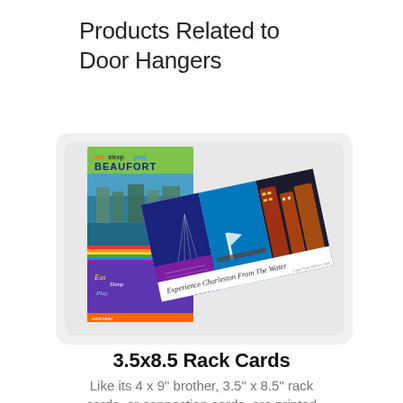Products Related to Door Hangers
[Figure (photo): Two printed rack cards shown overlapping. The back card is a tall vertical rack card with 'eat sleep play BEAUFORT' text and an aerial photo of a waterfront town. The front card is a horizontal rack card with scenic photos of Charleston including a bridge at night, a waterway, and illuminated buildings, with script text reading 'Experience Charleston From The Water'.]
3.5x8.5 Rack Cards
Like its 4 x 9" brother, 3.5" x 8.5" rack cards, or connection cards, are printed